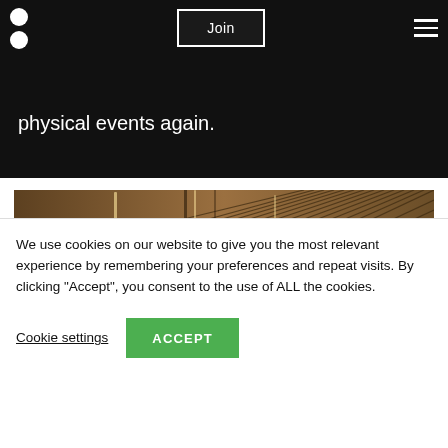Join
physical events again.
[Figure (photo): Interior venue photo showing a ceiling with wooden slat design and pendant lighting in a large event space]
We use cookies on our website to give you the most relevant experience by remembering your preferences and repeat visits. By clicking "Accept", you consent to the use of ALL the cookies.
Cookie settings
ACCEPT